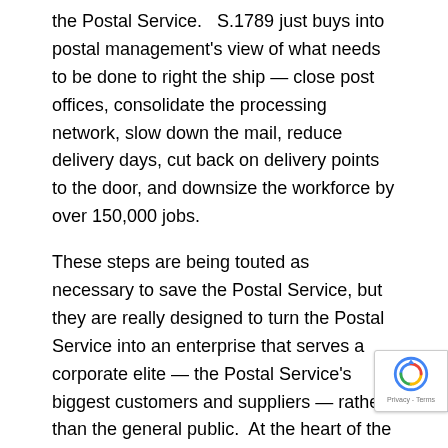the Postal Service. S.1789 just buys into postal management's view of what needs to be done to right the ship — close post offices, consolidate the processing network, slow down the mail, reduce delivery days, cut back on delivery points to the door, and downsize the workforce by over 150,000 jobs.
These steps are being touted as necessary to save the Postal Service, but they are really designed to turn the Postal Service into an enterprise that serves a corporate elite — the Postal Service's biggest customers and suppliers — rather than the general public. At the heart of the plan is hostility toward public-sector workers, unions, government, and public services.
In order to get the country to go along with the plan,